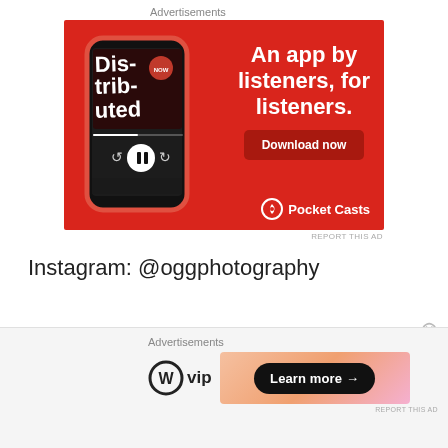Advertisements
[Figure (illustration): Pocket Casts app advertisement on red background showing a smartphone with the Distributed podcast. Text reads: An app by listeners, for listeners. Download now. Pocket Casts logo at bottom right.]
REPORT THIS AD
Instagram: @oggphotography
Advertisements
[Figure (illustration): WordPress VIP logo on left and a Learn more button on a gradient orange/pink background banner.]
REPORT THIS AD